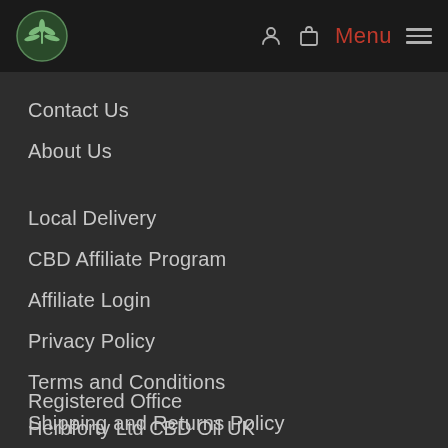Menu
Contact Us
About Us
Local Delivery
CBD Affiliate Program
Affiliate Login
Privacy Policy
Terms and Conditions
Shipping and Returns Policy
Registered Office
Herbforty Ltd CBD Oil UK